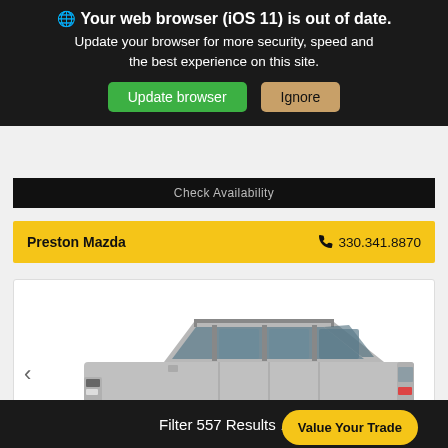🌐 Your web browser (iOS 11) is out of date. Update your browser for more security, speed and the best experience on this site. Update browser | Ignore
Check Availability
Preston Mazda  330.341.8870
[Figure (photo): Side view of a silver Jeep Patriot SUV with a 'Value Your Trade' yellow button overlay in the bottom right]
Value Your Trade
Filter 557 Results ^